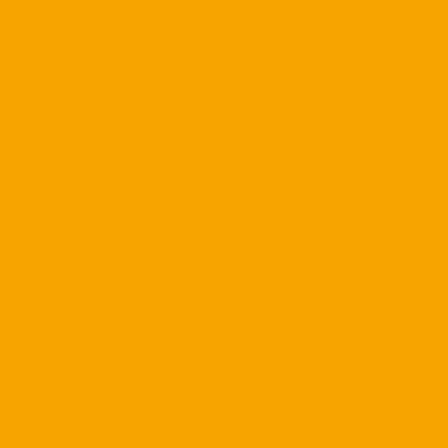2. Gotta keep the chin UP ev... Walk crisply, speak firmly and... that we have left after Faith a...
3. If "The Mandingo" can find... to survive and even thrive. "U... cause in a much larger way i...
Before I go I would just like to... by the score of 34-13 I would...
That is all.
Posted by: 58 Straight | October 29...
[Figure (illustration): Avatar image with teal/blue map pattern on light blue background]
I get bombarded with all of m... family. I support every Miami... this year though.
Posted by: Hillviewcane | October...
[Figure (illustration): Avatar image with teal/blue map pattern on light blue background]
Posted by: 58 Straight | Octo...
Beating FSU is my Superbow...